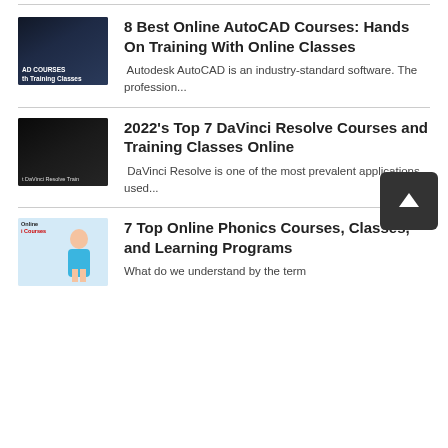[Figure (screenshot): Thumbnail image for AutoCAD courses article, dark background with text 'AD COURSES' and 'th Training Classes']
8 Best Online AutoCAD Courses: Hands On Training With Online Classes
Autodesk AutoCAD is an industry-standard software. The profession...
[Figure (screenshot): Thumbnail image for DaVinci Resolve courses article, dark background with text 't DaVinci Resolve Train']
2022's Top 7 DaVinci Resolve Courses and Training Classes Online
DaVinci Resolve is one of the most prevalent applications used...
[Figure (photo): Thumbnail image for Phonics courses article, showing a girl with labels 'Online' and 'i Courses']
7 Top Online Phonics Courses, Classes, and Learning Programs
What do we understand by the term